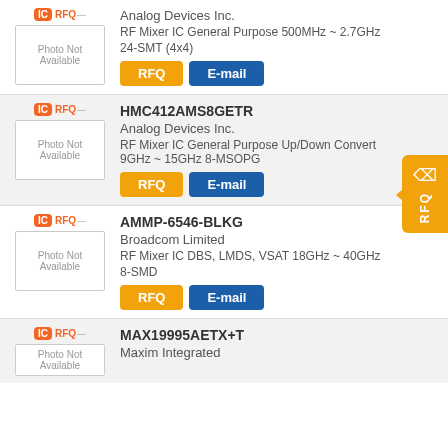[Figure (other): Product listing card 1: IC RFQ logo, Photo Not Available placeholder, Analog Devices Inc., RF Mixer IC General Purpose 500MHz ~ 2.7GHz, 24-SMT (4x4), RFQ and E-mail buttons]
[Figure (other): Product listing card 2: HMC412AMS8GETR, Analog Devices Inc., RF Mixer IC General Purpose Up/Down Convert 9GHz ~ 15GHz 8-MSOPG, RFQ and E-mail buttons]
[Figure (other): Product listing card 3: AMMP-6546-BLKG, Broadcom Limited, RF Mixer IC DBS, LMDS, VSAT 18GHz ~ 40GHz, 8-SMD, RFQ and E-mail buttons]
[Figure (other): Product listing card 4 (partial): MAX19995AETX+T, Maxim Integrated]